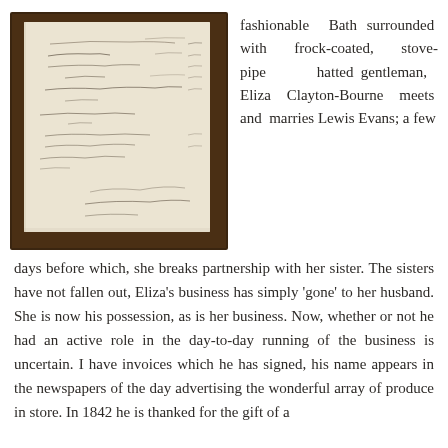[Figure (photo): A historical handwritten document or ledger page photographed against a dark wooden background. The paper appears aged with handwritten cursive entries in ink, resembling an old invoice or account book.]
fashionable Bath surrounded with frock-coated, stove-pipe hatted gentleman, Eliza Clayton-Bourne meets and marries Lewis Evans; a few days before which, she breaks partnership with her sister. The sisters have not fallen out, Eliza’s business has simply ‘gone’ to her husband. She is now his possession, as is her business. Now, whether or not he had an active role in the day-to-day running of the business is uncertain. I have invoices which he has signed, his name appears in the newspapers of the day advertising the wonderful array of produce in store. In 1842 he is thanked for the gift of a